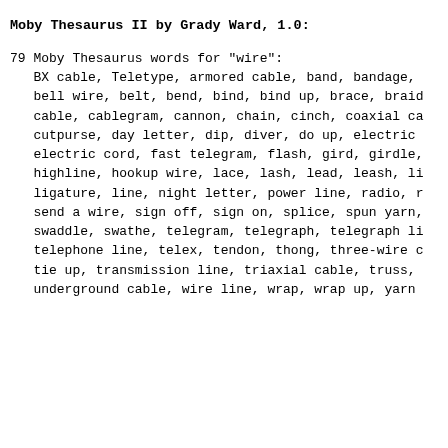Moby Thesaurus II by Grady Ward, 1.0:
79 Moby Thesaurus words for "wire":
BX cable, Teletype, armored cable, band, bandage,
bell wire, belt, bend, bind, bind up, brace, braid
cable, cablegram, cannon, chain, cinch, coaxial ca
cutpurse, day letter, dip, diver, do up, electric
electric cord, fast telegram, flash, gird, girdle,
highline, hookup wire, lace, lash, lead, leash, li
ligature, line, night letter, power line, radio, r
send a wire, sign off, sign on, splice, spun yarn,
swaddle, swathe, telegram, telegraph, telegraph li
telephone line, telex, tendon, thong, three-wire c
tie up, transmission line, triaxial cable, truss,
underground cable, wire line, wrap, wrap up, yarn